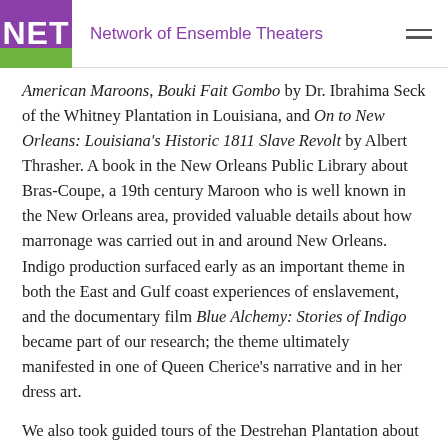NET Network of Ensemble Theaters
American Maroons, Bouki Fait Gombo by Dr. Ibrahima Seck of the Whitney Plantation in Louisiana, and On to New Orleans: Louisiana's Historic 1811 Slave Revolt by Albert Thrasher. A book in the New Orleans Public Library about Bras-Coupe, a 19th century Maroon who is well known in the New Orleans area, provided valuable details about how marronage was carried out in and around New Orleans. Indigo production surfaced early as an important theme in both the East and Gulf coast experiences of enslavement, and the documentary film Blue Alchemy: Stories of Indigo became part of our research; the theme ultimately manifested in one of Queen Cherice's narrative and in her dress art.
We also took guided tours of the Destrehan Plantation about an hour outside of New Orleans, where the 1811 uprising began, and of the Great Dismal Swamp in Suffolk, Virginia, which was the refuge of thousands of Maroons for more than a century. We briefly visited Jamestown, the It...